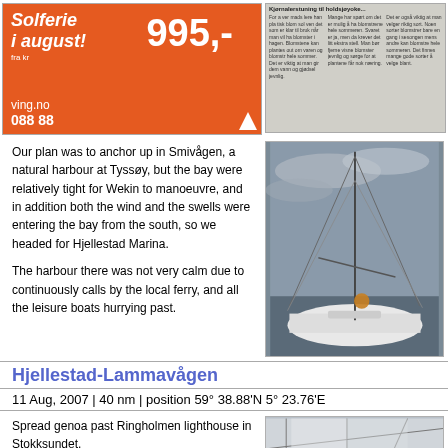[Figure (photo): Orange advertisement for Ving showing 'Solferie i august! fra kr 995,-' with ving.no and phone 088 88]
[Figure (photo): Scanned Norwegian newspaper page with multiple columns of text]
Our plan was to anchor up in Smivågen,  a natural harbour at Tyssøy, but the bay were relatively tight for Wekin to manoeuvre, and in addition both the wind and the swells were entering the bay from the south, so we headed for Hjellestad Marina.
The harbour there was not very calm due to continuously calls by the local ferry, and all the leisure boats hurrying past.
[Figure (photo): Photo of a sailing boat moored at a harbour on a cloudy day, viewed from above/behind showing the deck and mast rigging]
Hjellestad-Lammavågen
11 Aug, 2007 | 40 nm | position 59° 38.88'N 5° 23.76'E
Spread genoa past Ringholmen lighthouse in Stokksundet.
(below)
[Figure (photo): Photo showing sailing rigging/genoa sail lines against a pale sky]